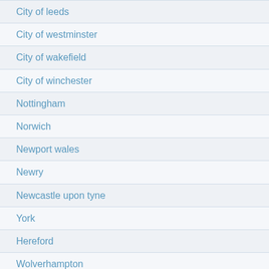City of leeds
City of westminster
City of wakefield
City of winchester
Nottingham
Norwich
Newport wales
Newry
Newcastle upon tyne
York
Hereford
Wolverhampton
Worcester uk